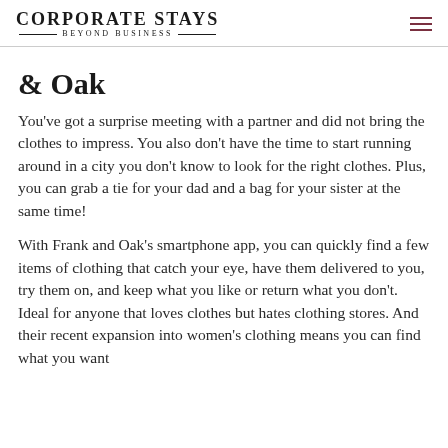CORPORATE STAYS — BEYOND BUSINESS
& OAK
You've got a surprise meeting with a partner and did not bring the clothes to impress. You also don't have the time to start running around in a city you don't know to look for the right clothes. Plus, you can grab a tie for your dad and a bag for your sister at the same time!
With Frank and Oak's smartphone app, you can quickly find a few items of clothing that catch your eye, have them delivered to you, try them on, and keep what you like or return what you don't. Ideal for anyone that loves clothes but hates clothing stores. And their recent expansion into women's clothing means you can find what you want